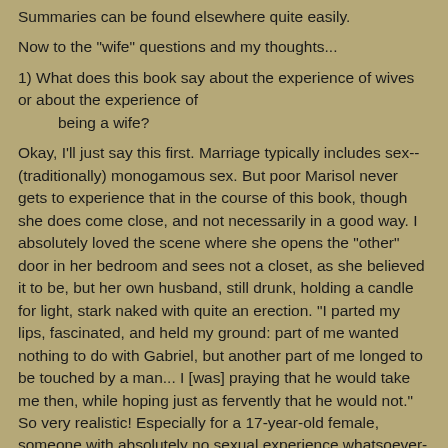Summaries can be found elsewhere quite easily.
Now to the "wife" questions and my thoughts...
1) What does this book say about the experience of wives or about the experience of
        being a wife?
Okay, I'll just say this first. Marriage typically includes sex--(traditionally) monogamous sex. But poor Marisol never gets to experience that in the course of this book, though she does come close, and not necessarily in a good way. I absolutely loved the scene where she opens the "other" door in her bedroom and sees not a closet, as she believed it to be, but her own husband, still drunk, holding a candle for light, stark naked with quite an erection. "I parted my lips, fascinated, and held my ground: part of me wanted nothing to do with Gabriel, but another part of me longed to be touched by a man... I [was] praying that he would take me then, while hoping just as fervently that he would not." So very realistic! Especially for a 17-year-old female, someone with absolutely no sexual experience whatsoever--the attraction of the married. But soon after he had...